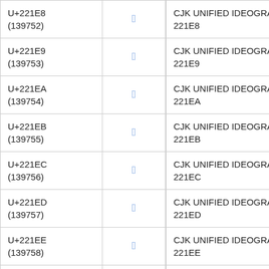| Code Point | Glyph | Name |
| --- | --- | --- |
| U+221E8
(139752) | 𢇨 | CJK UNIFIED IDEOGRAPH-221E8 |
| U+221E9
(139753) | 𢇩 | CJK UNIFIED IDEOGRAPH-221E9 |
| U+221EA
(139754) | 𢇪 | CJK UNIFIED IDEOGRAPH-221EA |
| U+221EB
(139755) | 𢇫 | CJK UNIFIED IDEOGRAPH-221EB |
| U+221EC
(139756) | 𢇬 | CJK UNIFIED IDEOGRAPH-221EC |
| U+221ED
(139757) | 𢇭 | CJK UNIFIED IDEOGRAPH-221ED |
| U+221EE
(139758) | 𢇮 | CJK UNIFIED IDEOGRAPH-221EE |
| U+221EF | 𢇯 | CJK UNIFIED IDEOGRAPH- |